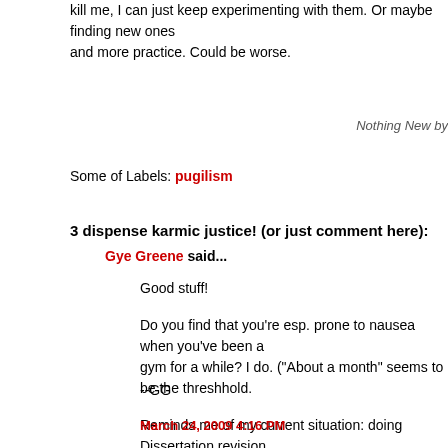kill me, I can just keep experimenting with them. Or maybe finding new ones and more practice. Could be worse.
Nothing New by
Some of Labels: pugilism
3 dispense karmic justice! (or just comment here):
Gye Greene said...
Good stuff!
Do you find that you're esp. prone to nausea when you've been away from the gym for a while? I do. ("About a month" seems to be the threshhold.)
Reminds me of my current situation: doing Dissertation revisions under a relatively tight deadline -- with a head cold. I'd rather sleep -- but I have to stay up late...
--GG
March 24, 2009 4:16 PM